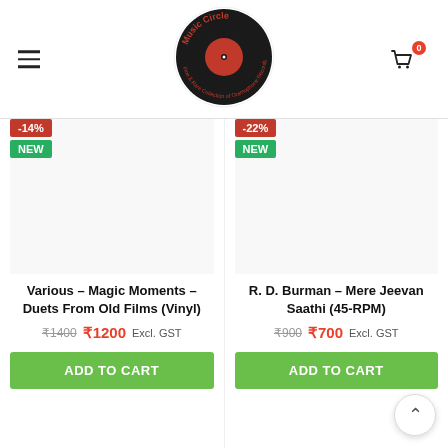Music Circle — Fine & Rare Collection of Gramophone Records
[Figure (logo): Music Circle logo: vinyl record with red center label, circular text reading 'Music Circle Fine & Rare Collection of Gramophone Records']
Various – Magic Moments – Duets From Old Films (Vinyl)
₹1400 ₹1200 Excl. GST
R. D. Burman – Mere Jeevan Saathi (45-RPM)
₹900 ₹700 Excl. GST